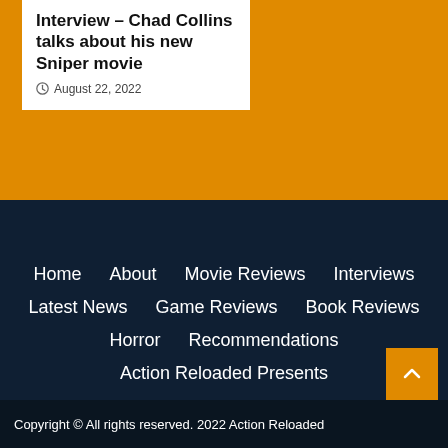Interview – Chad Collins talks about his new Sniper movie
August 22, 2022
Home
About
Movie Reviews
Interviews
Latest News
Game Reviews
Book Reviews
Horror
Recommendations
Action Reloaded Presents
Copyright © All rights reserved. 2022 Action Reloaded